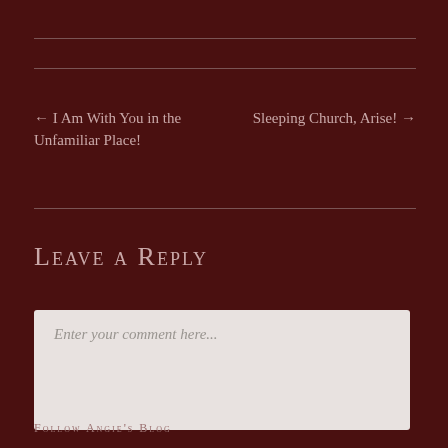← I Am With You in the Unfamiliar Place!
Sleeping Church, Arise! →
Leave a Reply
Enter your comment here...
FOLLOW ANGIE'S BLOG